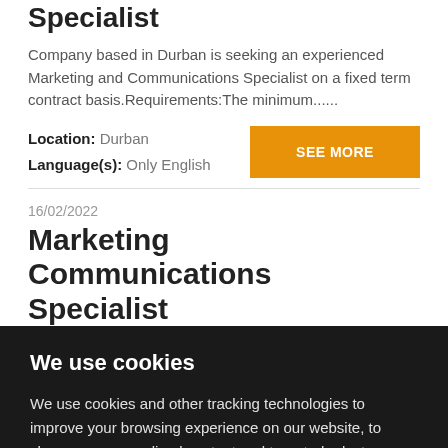Specialist
Company based in Durban is seeking an experienced Marketing and Communications Specialist on a fixed term contract basis.Requirements:The minimum......
Location: Durban
Language(s): Only English
SEE MORE
16/02/2022
Marketing Communications Specialist
We use cookies
We use cookies and other tracking technologies to improve your browsing experience on our website, to show you personalized content and targeted ads, to analyze our website traffic, and to